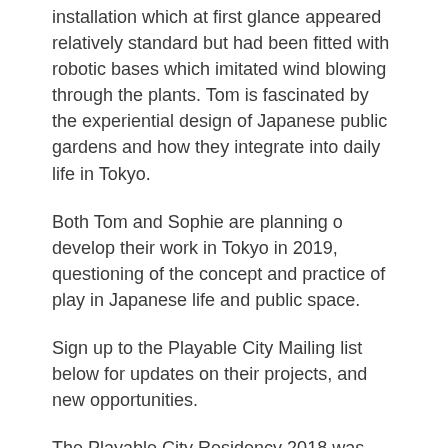installation which at first glance appeared relatively standard but had been fitted with robotic bases which imitated wind blowing through the plants. Tom is fascinated by the experiential design of Japanese public gardens and how they integrate into daily life in Tokyo.
Both Tom and Sophie are planning o develop their work in Tokyo in 2019, questioning of the concept and practice of play in Japanese life and public space.
Sign up to the Playable City Mailing list below for updates on their projects, and new opportunities.
The Playable City Residency 2018 was produced by Watershed in collaboration with the British Council, with special cooperation from Rhizomatiks and JKD Collective Inc.